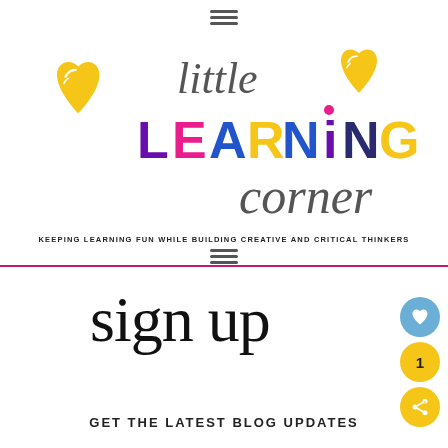[Figure (logo): Little Learning Corner logo with colorful block letters LEARNING, handwritten 'little' and 'corner' in cursive, yellow heart decorations on left and right]
KEEPING LEARNING FUN WHILE BUILDING CREATIVE AND CRITICAL THINKERS
sign up
GET THE LATEST BLOG UPDATES